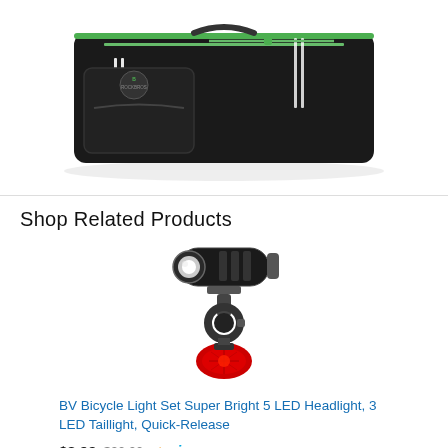[Figure (photo): ROCKBROS black and green bicycle bag/travel case with green zipper and white racing stripes]
Shop Related Products
[Figure (photo): BV Bicycle Light Set with black front LED headlight and red rear taillight with mounting bracket]
BV Bicycle Light Set Super Bright 5 LED Headlight, 3 LED Taillight, Quick-Release
$8.99  $20.00  ✓prime
★★★★½ (27729)